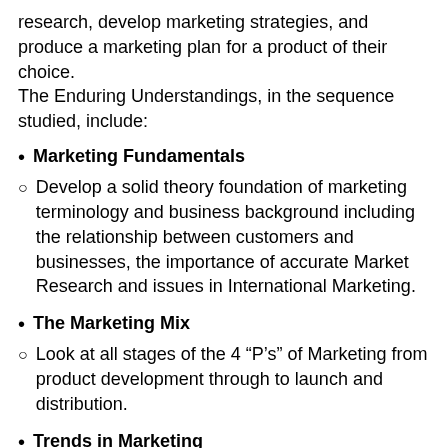research, develop marketing strategies, and produce a marketing plan for a product of their choice. The Enduring Understandings, in the sequence studied, include:
Marketing Fundamentals
Develop a solid theory foundation of marketing terminology and business background including the relationship between customers and businesses, the importance of accurate Market Research and issues in International Marketing.
The Marketing Mix
Look at all stages of the 4 “P’s” of Marketing from product development through to launch and distribution.
Trends in Marketing
Marketing and the careers in it are evolving constantly. We will examine various